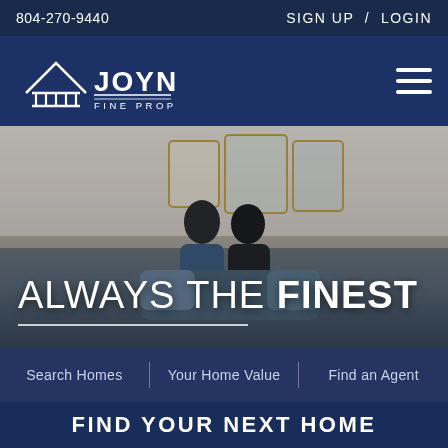804-270-9440   SIGN UP / LOGIN
[Figure (logo): Joyner Fine Properties logo with house/columns icon, white on dark blue]
[Figure (photo): Interior living room photo with a couple sitting on a sofa looking at something together, bright white and cream decor with gold-framed art on wall]
ALWAYS THE FINEST
Search Homes   Your Home Value   Find an Agent
FIND YOUR NEXT HOME